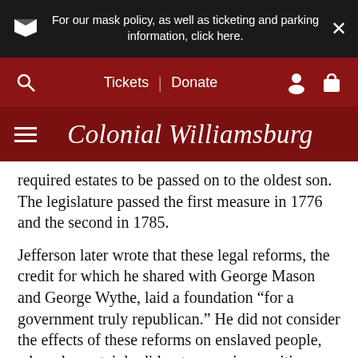For our mask policy, as well as ticketing and parking information, click here.
Tickets | Donate
Colonial Williamsburg
required estates to be passed on to the oldest son. The legislature passed the first measure in 1776 and the second in 1785.
Jefferson later wrote that these legal reforms, the credit for which he shared with George Mason and George Wythe, laid a foundation “for a government truly republican.” He did not consider the effects of these reforms on enslaved people, whom he certainly did not recognize as citizens. But, by